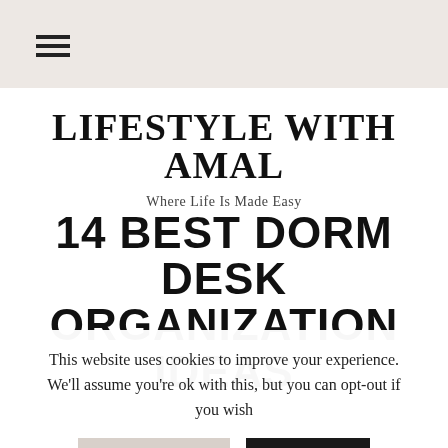☰ (hamburger menu icon)
LIFESTYLE WITH AMAL
Where Life Is Made Easy
14 BEST DORM DESK ORGANIZATION IDEAS
This website uses cookies to improve your experience. We'll assume you're ok with this, but you can opt-out if you wish
Cookie Settings   ACCEPT